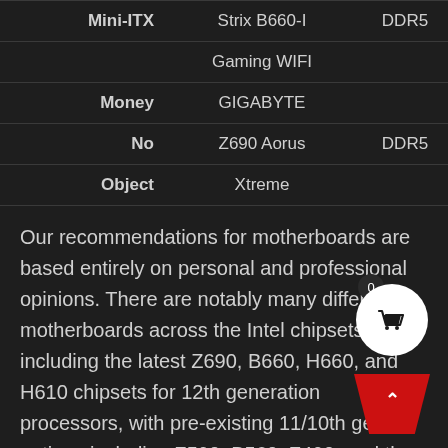| Form Factor | Model | Memory | Price |
| --- | --- | --- | --- |
| Mini-ITX | Strix B660-I Gaming WIFI | DDR5 | $235 |
| Money No Object | GIGABYTE Z690 Aorus Xtreme | DDR5 | $900 |
Our recommendations for motherboards are based entirely on personal and professional opinions. There are notably many different motherboards across the Intel chipsets including the latest Z690, B660, H660, and H610 chipsets for 12th generation processors, with pre-existing 11/10th gen options including Z590, B560, Z490, and the